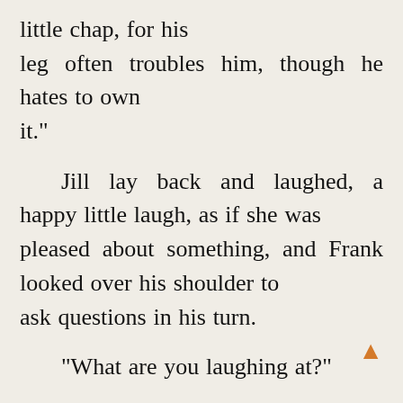little chap, for his leg often troubles him, though he hates to own it."
Jill lay back and laughed, a happy little laugh, as if she was pleased about something, and Frank looked over his shoulder to ask questions in his turn.
"What are you laughing at?"
"Can’t tell."